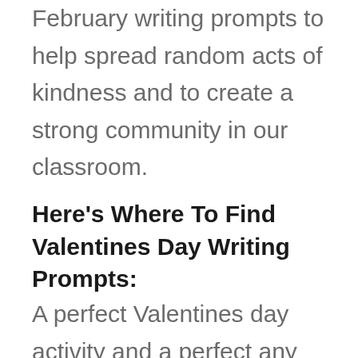February writing prompts to help spread random acts of kindness and to create a strong community in our classroom.
Here's Where To Find Valentines Day Writing Prompts:
A perfect Valentines day activity and a perfect any day activity. Happy Valentine's Day! Let's spread love, inclusivity, and